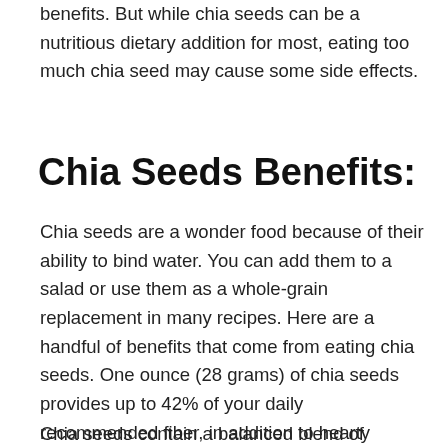benefits. But while chia seeds can be a nutritious dietary addition for most, eating too much chia seed may cause some side effects.
Chia Seeds Benefits:
Chia seeds are a wonder food because of their ability to bind water. You can add them to a salad or use them as a whole-grain replacement in many recipes. Here are a handful of benefits that come from eating chia seeds. One ounce (28 grams) of chia seeds provides up to 42% of your daily recommended fiber, in addition to hearty doses of phosphorus, magnesium, calcium, and omega-3 fatty acids. And chia seeds are not only healthy; they taste good in hot chocolate, dressings, muffins, ice cream, or smoothies.
Chia seeds contain a balanced blend of carbohydrates